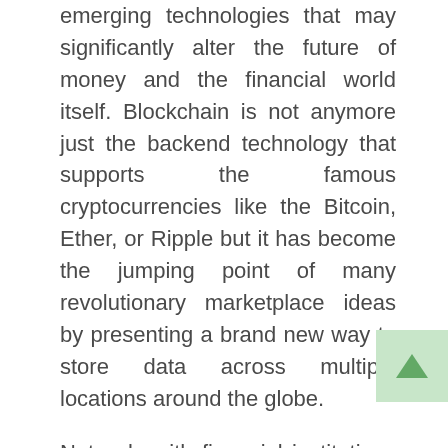emerging technologies that may significantly alter the future of money and the financial world itself. Blockchain is not anymore just the backend technology that supports the famous cryptocurrencies like the Bitcoin, Ether, or Ripple but it has become the jumping point of many revolutionary marketplace ideas by presenting a brand new way to store data across multiple locations around the globe.
Not only with financial institutions such as banks, the ripple effect of blockchain technology can be felt across industries. For instance, the healthcare industry is continually looking for ways to develop much better ways to prevent fraudulent transactions from occurring. They are also researching ways for a far quicker way to transmit confirmations and massive savings through efficiency and removing middlemen parties. There is even a recent study that has shown that at the least, a tenth of the global GDP should be stored in some form of blockchain enabled storage like coins, tokens, or blockchain investment funds in the next decade which could then grow exponentially towards after 20 years.
Just how big is blockchain technology going to affect